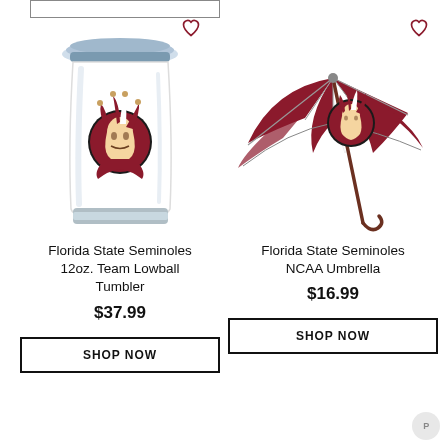[Figure (photo): Florida State Seminoles 12oz Team Lowball Tumbler - white stainless steel tumbler with FSU Seminoles logo, clear lid, with a heart/wishlist icon]
Florida State Seminoles 12oz. Team Lowball Tumbler
$37.99
SHOP NOW
[Figure (photo): Florida State Seminoles NCAA Umbrella - maroon and white large golf umbrella with FSU Seminoles logo, with a heart/wishlist icon]
Florida State Seminoles NCAA Umbrella
$16.99
SHOP NOW